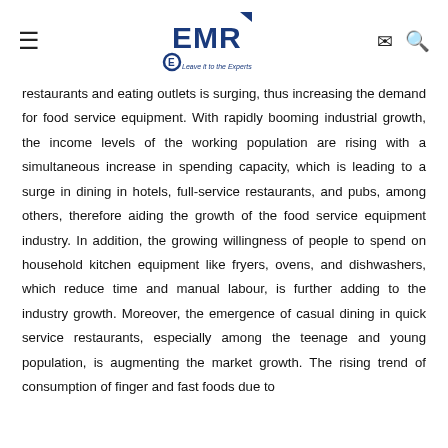EMR - Leave it to the Experts (logo with navigation icons)
restaurants and eating outlets is surging, thus increasing the demand for food service equipment. With rapidly booming industrial growth, the income levels of the working population are rising with a simultaneous increase in spending capacity, which is leading to a surge in dining in hotels, full-service restaurants, and pubs, among others, therefore aiding the growth of the food service equipment industry. In addition, the growing willingness of people to spend on household kitchen equipment like fryers, ovens, and dishwashers, which reduce time and manual labour, is further adding to the industry growth. Moreover, the emergence of casual dining in quick service restaurants, especially among the teenage and young population, is augmenting the market growth. The rising trend of consumption of finger and fast foods due to